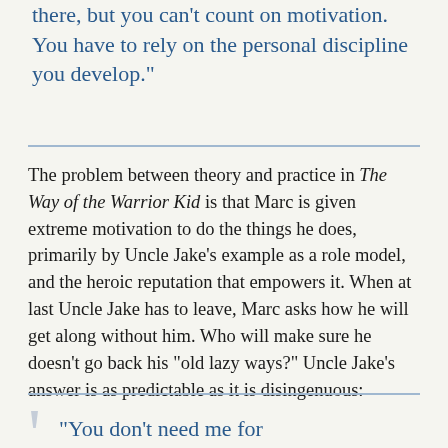there, but you can’t count on motivation. You have to rely on the personal discipline you develop.”
The problem between theory and practice in The Way of the Warrior Kid is that Marc is given extreme motivation to do the things he does, primarily by Uncle Jake’s example as a role model, and the heroic reputation that empowers it. When at last Uncle Jake has to leave, Marc asks how he will get along without him. Who will make sure he doesn’t go back his “old lazy ways?” Uncle Jake’s answer is as predictable as it is disingenuous:
“You don’t need me for